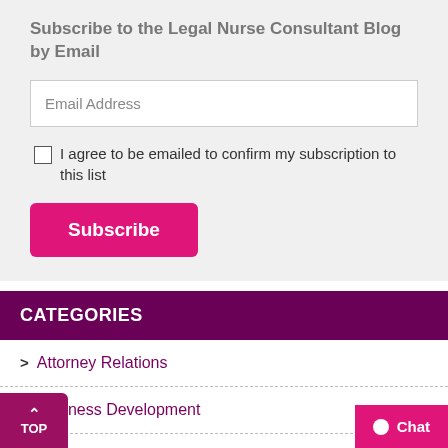Subscribe to the Legal Nurse Consultant Blog by Email
Email Address
I agree to be emailed to confirm my subscription to this list
Subscribe
CATEGORIES
Attorney Relations
Business Development
Case Evaluation
C Success Story